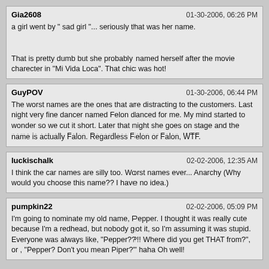Gia2608 | 01-30-2006, 06:26 PM
a girl went by " sad girl "... seriously that was her name.

That is pretty dumb but she probably named herself after the movie charecter in "Mi Vida Loca". That chic was hot!
GuyPOV | 01-30-2006, 06:44 PM
The worst names are the ones that are distracting to the customers. Last night very fine dancer named Felon danced for me. My mind started to wonder so we cut it short. Later that night she goes on stage and the name is actually Falon. Regardless Felon or Falon, WTF.
luckischalk | 02-02-2006, 12:35 AM
I think the car names are silly too. Worst names ever... Anarchy (Why would you choose this name?? I have no idea.)
pumpkin22 | 02-02-2006, 05:09 PM
I'm going to nominate my old name, Pepper. I thought it was really cute because I'm a redhead, but nobody got it, so I'm assuming it was stupid. Everyone was always like, "Pepper??!! Where did you get THAT from?", or , "Pepper? Don't you mean Piper?" haha Oh well!